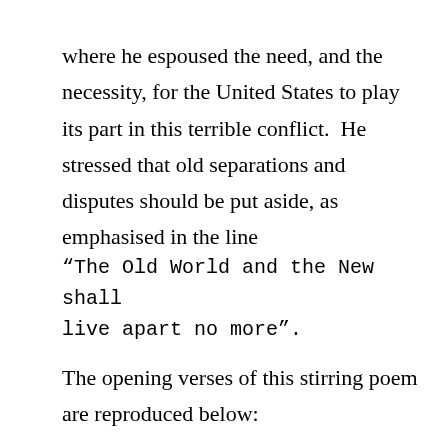where he espoused the need, and the necessity, for the United States to play its part in this terrible conflict.  He stressed that old separations and disputes should be put aside, as emphasised in the line
“The Old World and the New shall live apart no more”.
The opening verses of this stirring poem are reproduced below: